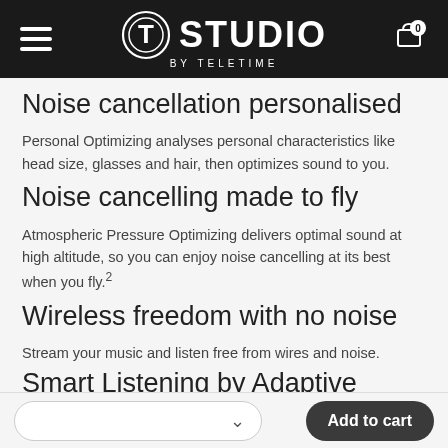STUDIO BY TELETIME
Noise cancellation personalised
Personal Optimizing analyses personal characteristics like head size, glasses and hair, then optimizes sound to you.
Noise cancelling made to fly
Atmospheric Pressure Optimizing delivers optimal sound at high altitude, so you can enjoy noise cancelling at its best when you fly.²
Wireless freedom with no noise
Stream your music and listen free from wires and noise.
Smart Listening by Adaptive Sound